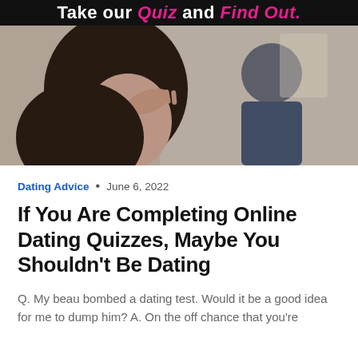Take our Quiz and Find Out.
[Figure (photo): A woman with dark hair resting her hand on her forehead looking distressed, with a man sitting in the background facing away.]
Dating Advice • June 6, 2022
If You Are Completing Online Dating Quizzes, Maybe You Shouldn't Be Dating
Q. My beau bombed a dating test. Would it be a good idea for me to dump him? A. On the off chance that you're